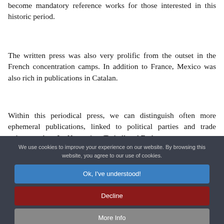become mandatory reference works for those interested in this historic period.
The written press was also very prolific from the outset in the French concentration camps. In addition to France, Mexico was also rich in publications in Catalan.
Within this periodical press, we can distinguish often more ephemeral publications, linked to political parties and trade unions, such as La Humanitat, Treball and Endavant.
We use cookies to improve your experience on our website. By browsing this website, you agree to our use of cookies.
Ok, I've understood!
Decline
More Info